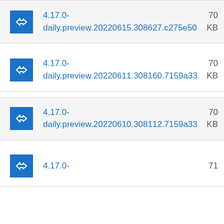4.17.0-daily.preview.20220615.308627.c275e50  70
KB
4.17.0-daily.preview.20220611.308160.7159a33  70
KB
4.17.0-daily.preview.20220610.308112.7159a33  70
KB
4.17.0-  71